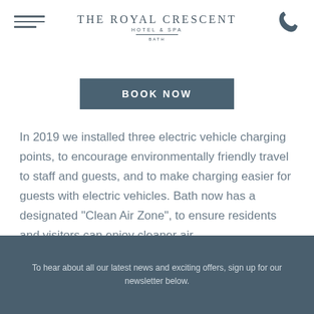THE ROYAL CRESCENT HOTEL & SPA BATH
BOOK NOW
In 2019 we installed three electric vehicle charging points, to encourage environmentally friendly travel to staff and guests, and to make charging easier for guests with electric vehicles. Bath now has a designated "Clean Air Zone", to ensure residents and visitors can enjoy cleaner air.
To hear about all our latest news and exciting offers, sign up for our newsletter below.